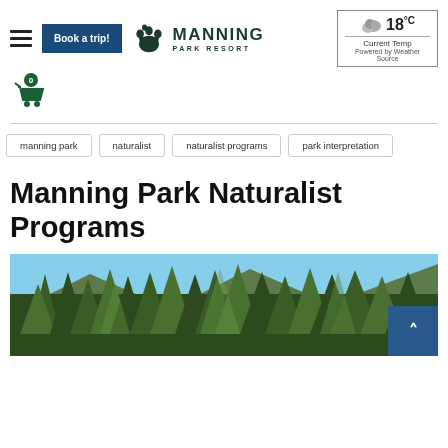Manning Park Resort – Book a trip! | 18°C Current Temp | Powered by Weather Source
[Figure (screenshot): Shopping cart icon with badge showing 0 items]
manning park
naturalist
naturalist programs
park interpretation
Manning Park Naturalist Programs
[Figure (photo): Forest of tall evergreen pine trees with mountains in the background, green foliage in sunlight]